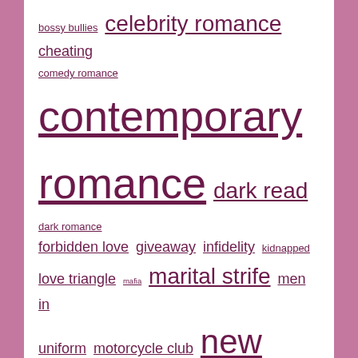[Figure (infographic): Tag cloud showing romance book genre tags in varying font sizes indicating frequency/popularity. Tags include: bossy bullies, celebrity romance, cheating, comedy romance, contemporary romance, dark read, dark romance, forbidden love, giveaway, infidelity, kidnapped, love triangle, mafia, marital strife, men in uniform, motorcycle club, new adult, paranormal romance, pregnancy, psych-thriller, psychological thriller, reader favorites, reader question, reader recommendations, rock stars, second chance romance, shifters, solved, sports stars, super-angsty, unrequited love, unsolved, urban fantasy, vampires, ya]